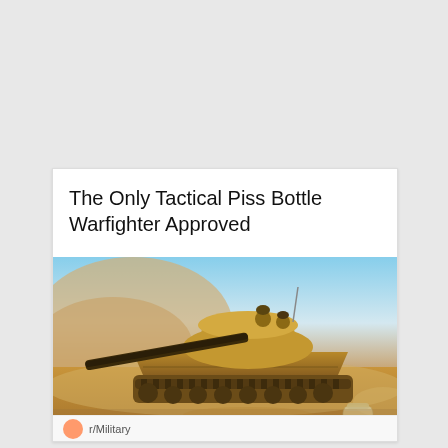The Only Tactical Piss Bottle Warfighter Approved
[Figure (photo): A military tank (M1 Abrams style) in a dusty desert environment with soldiers visible on top, photographed in action. A plastic bottle is visible in the lower right corner of the image. The bottom of the image shows a reflection effect with text 'WARFIGHTER APPROVED' overlaid.]
r/Military